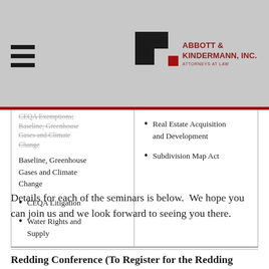Abbott & Kindermann, Inc. Attorneys at Law
| CEQA Exemptions; Baseline, Greenhouse Gases and Climate Change
CEQA Litigation
Water Rights and Supply | Real Estate Acquisition and Development
Subdivision Map Act |
Details for each of the seminars is below.  We hope you can join us and we look forward to seeing you there.
Redding Conference (To Register for the Redding